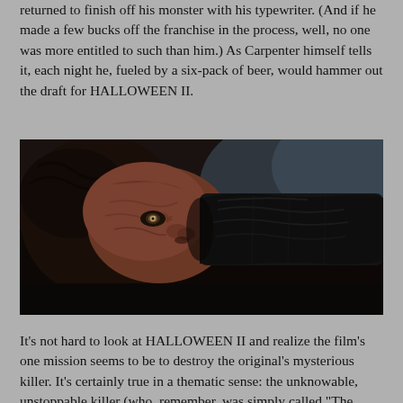returned to finish off his monster with his typewriter. (And if he made a few bucks off the franchise in the process, well, no one was more entitled to such than him.) As Carpenter himself tells it, each night he, fueled by a six-pack of beer, would hammer out the draft for HALLOWEEN II.
[Figure (photo): A dark, close-up film still showing a masked killer's face pressed against or being grabbed by a black-gloved hand. The image is dimly lit with dark tones, appearing to be from the Halloween II film.]
It's not hard to look at HALLOWEEN II and realize the film's one mission seems to be to destroy the original's mysterious killer. It's certainly true in a thematic sense: the unknowable, unstoppable killer (who, remember, was simply called "The Shape" in the first film's script), is given a sibling, a bit of pagan backstory/motivation, and is referred to by his first